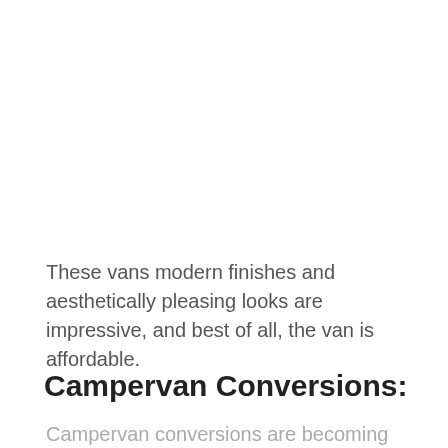These vans modern finishes and aesthetically pleasing looks are impressive, and best of all, the van is affordable.
Campervan Conversions:
Campervan conversions are becoming more and